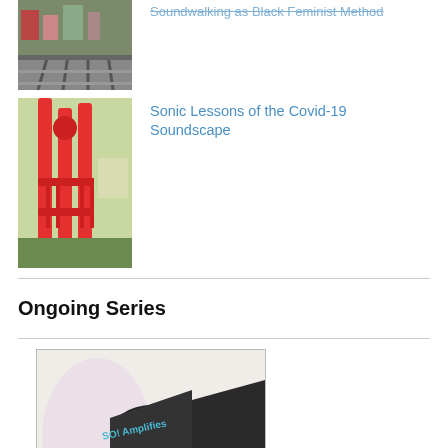[Figure (photo): Aerial view of railway tracks and urban area]
Soundwalking as Black Feminist Method
[Figure (photo): Red tripod or stand equipment outdoors]
Sonic Lessons of the Covid-19 Soundscape
Ongoing Series
[Figure (photo): Megaphone/bullhorn with text 'SO! Amplifies' on it]